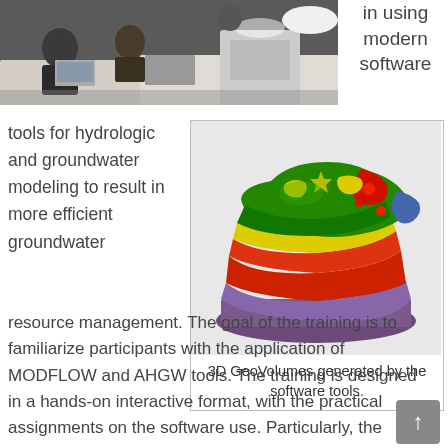[Figure (photo): Photo of people working in a classroom/office environment with laptops and tablets on tables]
in using modern software
tools for hydrologic and groundwater modeling to result in more efficient groundwater
[Figure (illustration): 3D GeoVolumes model showing layered geological zones in green, yellow, red, purple and blue colors representing a watershed or aquifer system]
3D GeoVolumes generated by the software tools.
resource management. The goal of the training is to familiarize participants with the application of MODFLOW and AHGW tools. The training is designed in a hands-on interactive format, with the practical assignments on the software use. Particularly, the trainees will learn how to build and customize an AHGW geodatabase, import data, produce maps of temporal data such as water levels and